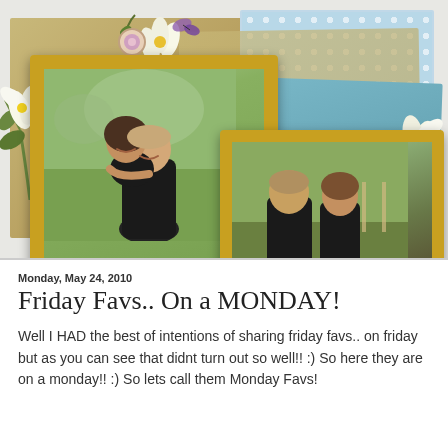[Figure (photo): Decorative photo collage with two gold-framed couple photographs on a background of layered decorative papers (blue polka dots, teal, khaki/gold textures) with floral embellishments. Left frame shows a couple hugging/piggyback outdoors; right frame shows a couple sitting outdoors.]
Monday, May 24, 2010
Friday Favs.. On a MONDAY!
Well I HAD the best of intentions of sharing friday favs.. on friday but as you can see that didnt turn out so well!! :) So here they are on a monday!! :) So lets call them Monday Favs!